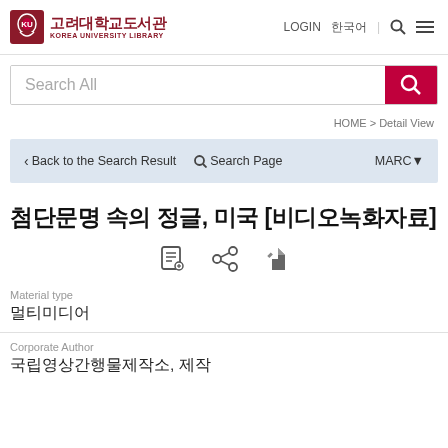[Figure (logo): Korea University Library logo with shield emblem and Korean/English text]
LOGIN  한국어  🔍  ☰
Search All
HOME > Detail View
‹ Back to the Search Result   🔍 Search Page   MARC▼
첨단문명 속의 정글, 미국 [비디오녹화자료]
Material type
멀티미디어
Corporate Author
국립영상간행물제작소, 제작